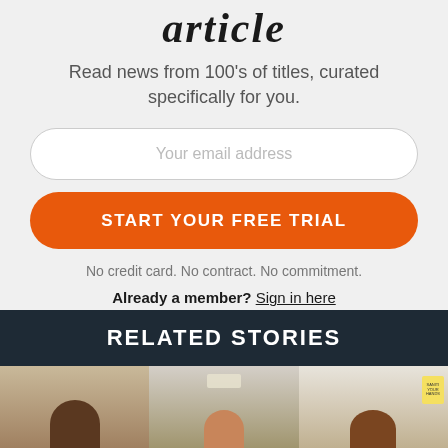article
Read news from 100's of titles, curated specifically for you.
Your email address
START YOUR FREE TRIAL
No credit card. No contract. No commitment.
Already a member? Sign in here
RELATED STORIES
[Figure (photo): Photo strip showing people in what appears to be a medical or office setting]